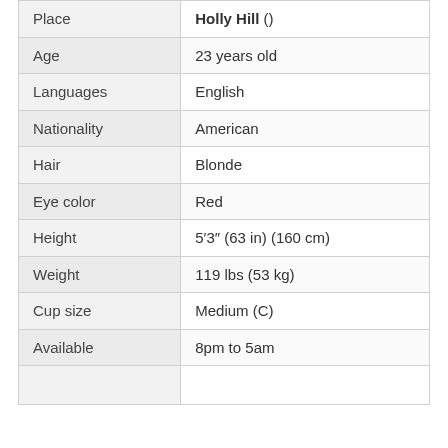| Place | Holly Hill () |
| Age | 23 years old |
| Languages | English |
| Nationality | American |
| Hair | Blonde |
| Eye color | Red |
| Height | 5′3″ (63 in) (160 cm) |
| Weight | 119 lbs (53 kg) |
| Cup size | Medium (C) |
| Available | 8pm to 5am |
|  |  |